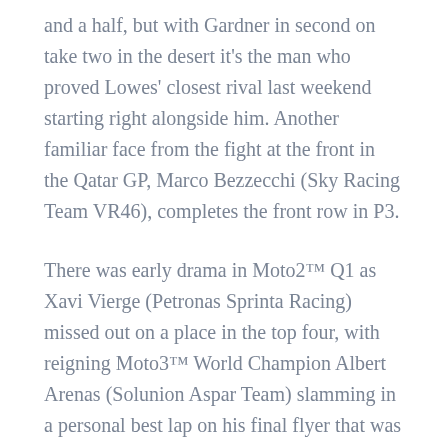and a half, but with Gardner in second on take two in the desert it's the man who proved Lowes' closest rival last weekend starting right alongside him. Another familiar face from the fight at the front in the Qatar GP, Marco Bezzecchi (Sky Racing Team VR46), completes the front row in P3.
There was early drama in Moto2™ Q1 as Xavi Vierge (Petronas Sprinta Racing) missed out on a place in the top four, with reigning Moto3™ World Champion Albert Arenas (Solunion Aspar Team) slamming in a personal best lap on his final flyer that was enough for P3. That demoted Vierge to P5 and out of Q2. Jorge Navarro (MB Conveyors Speed Up) topped the first part of qualifying with a 1:59.592 though, moving through ahead of Bo Bendsneyder (Pertamina Mandalika SAG Team), Arenas and Jake Dixon (Petronas Sprinta Racing).